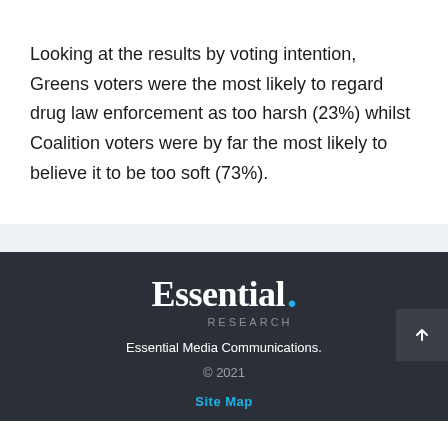Looking at the results by voting intention, Greens voters were the most likely to regard drug law enforcement as too harsh (23%) whilst Coalition voters were by far the most likely to believe it to be too soft (73%).
[Figure (logo): Essential Research logo — white bold serif text 'Essential.' with a cyan dot, and 'RESEARCH' in grey spaced caps below]
Essential Media Communications.
© 2021
Site Map